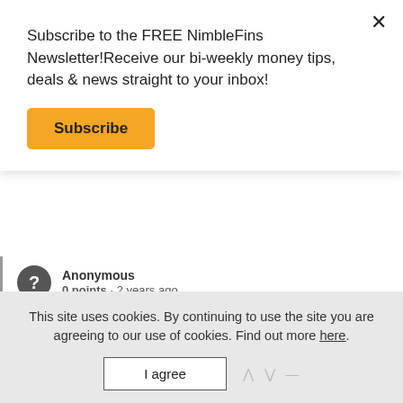Subscribe to the FREE NimbleFins Newsletter!Receive our bi-weekly money tips, deals & news straight to your inbox!
Subscribe
Anonymous
0 points · 2 years ago
Shouldn't the £56 per month for vices be £56 per week?
Mój Seksuolog
0 points · 11 months ago
This site uses cookies. By continuing to use the site you are agreeing to our use of cookies. Find out more here.
I agree